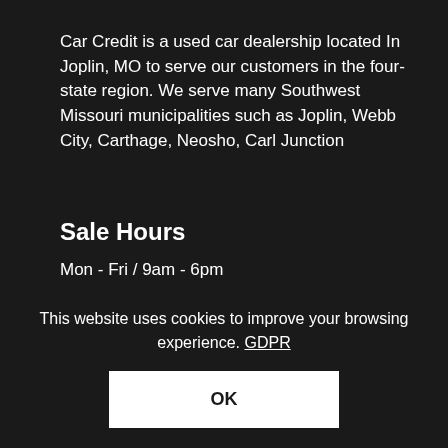Car Credit is a used car dealership located In Joplin, MO to serve our customers in the four-state region. We serve many Southwest Missouri municipalities such as Joplin, Webb City, Carthage, Neosho, Carl Junction
Sale Hours
Mon - Fri / 9am - 6pm
About Car Credit
[Figure (other): Green close button with X icon and partial red semicircle with text 'PEOPLE' visible]
This website uses cookies to improve your browsing experience. GDPR
OK